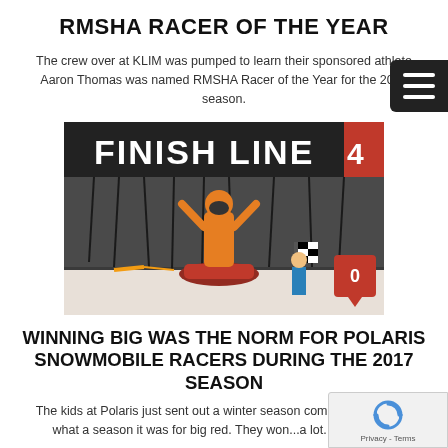RMSHA RACER OF THE YEAR
The crew over at KLIM was pumped to learn their sponsored athlete Aaron Thomas was named RMSHA Racer of the Year for the 2017 season.
[Figure (photo): A snowmobile racer in an orange suit with arms raised in victory at the finish line, with a banner reading 'FINISH LINE' in the background and a checkered flag being waved. A red notification badge with '0' is overlaid in the bottom right corner.]
WINNING BIG WAS THE NORM FOR POLARIS SNOWMOBILE RACERS DURING THE 2017 SEASON
The kids at Polaris just sent out a winter season competitive recap... what a season it was for big red. They won...a lot. Highlighting